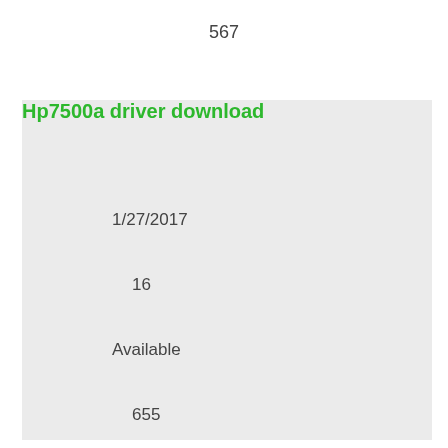567
Hp7500a driver download
1/27/2017
16
Available
655